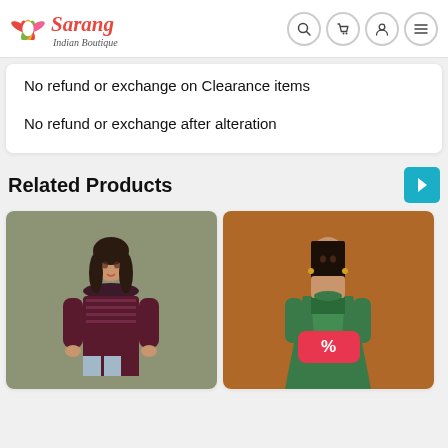Sarang Indian Boutique
No refund or exchange on Clearance items
No refund or exchange after alteration
Related Products
[Figure (photo): Woman wearing dark maroon printed Indian kurta, smiling, olive green background]
[Figure (photo): Woman wearing green Indian Anarkali dress with dupatta, orange/brown background, with a red discount badge showing % symbol]